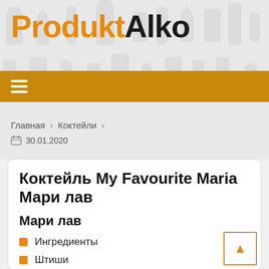ProduktAlko
Главная › Коктейли ›
30.01.2020
Коктейль My Favourite Maria Мари лав
Мари лав
Ингредиенты
Штиши